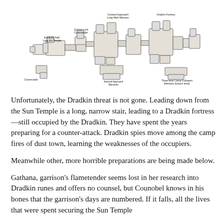[Figure (map): A bird's-eye schematic map of a fantasy fortress/temple complex with labeled structures including Entrance Hall/Long Arc Temple, Quarter-Lord Commander, Crossroads, Outward Approach/Long Main Mansion, Dradkin Fortress, Three-level Camp Followers Barracks (bottom level), and Internal Approach Barracks.]
Unfortunately, the Dradkin threat is not gone. Leading down from the Sun Temple is a long, narrow stair, leading to a Dradkin fortress—still occupied by the Dradkin. They have spent the years preparing for a counter-attack. Dradkin spies move among the camp fires of dust town, learning the weaknesses of the occupiers.
Meanwhile other, more horrible preparations are being made below.
Gathana, garrison's flametender seems lost in her research into Dradkin runes and offers no counsel, but Counobel knows in his bones that the garrison's days are numbered. If it falls, all the lives that were spent securing the Sun Temple